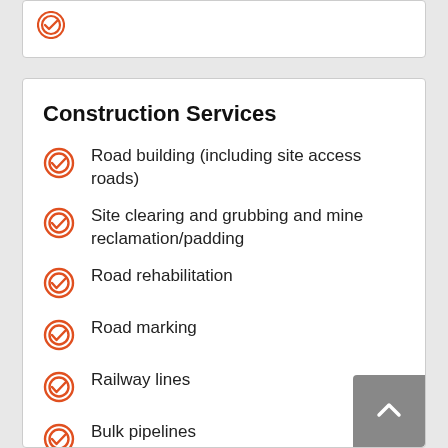Construction Services
Road building (including site access roads)
Site clearing and grubbing and mine reclamation/padding
Road rehabilitation
Road marking
Railway lines
Bulk pipelines
Urban reticulation